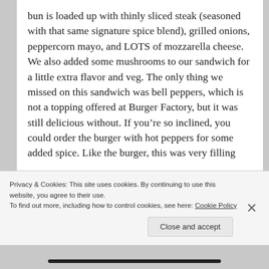bun is loaded up with thinly sliced steak (seasoned with that same signature spice blend), grilled onions, peppercorn mayo, and LOTS of mozzarella cheese. We also added some mushrooms to our sandwich for a little extra flavor and veg. The only thing we missed on this sandwich was bell peppers, which is not a topping offered at Burger Factory, but it was still delicious without. If you’re so inclined, you could order the burger with hot peppers for some added spice. Like the burger, this was very filling
Privacy & Cookies: This site uses cookies. By continuing to use this website, you agree to their use.
To find out more, including how to control cookies, see here: Cookie Policy
Close and accept